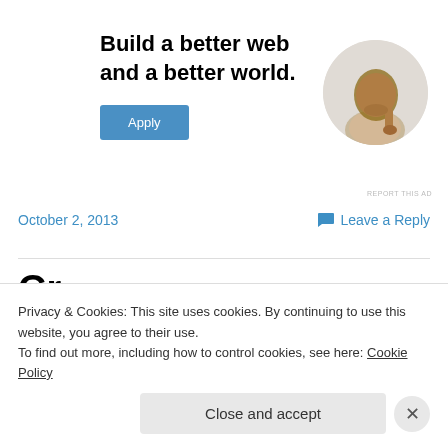[Figure (illustration): Advertisement banner with bold headline 'Build a better web and a better world.', an Apply button, and a circular photo of a man thinking with his hand on his chin.]
REPORT THIS AD
October 2, 2013
Leave a Reply
Gr...
Privacy & Cookies: This site uses cookies. By continuing to use this website, you agree to their use.
To find out more, including how to control cookies, see here: Cookie Policy
Close and accept